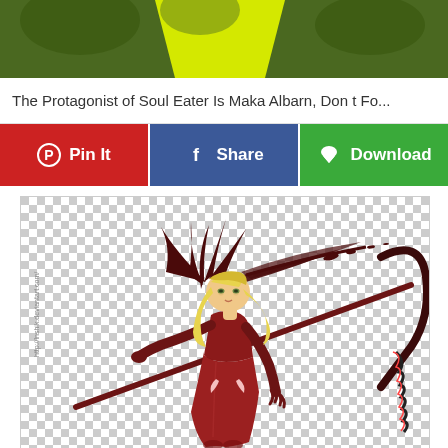[Figure (illustration): Top portion of an anime-style image with green background and yellow diagonal stripe, partially cropped]
The Protagonist of Soul Eater Is Maka Albarn, Don t Fo...
[Figure (infographic): Three social sharing/action buttons: Pin It (red, Pinterest), Share (blue, Facebook), Download (green)]
[Figure (illustration): Anime character Maka Albarn in a red dress holding a large scythe weapon, with dark red wing-like decorations in hair, blonde twin tails, on transparent/checkered background. Watermark text: http://lnshik.deviantart.com/]